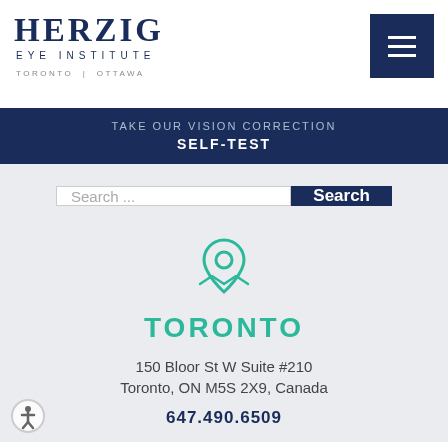[Figure (logo): Herzig Eye Institute logo with text TORONTO | OTTAWA]
[Figure (other): Hamburger navigation menu button (navy blue square with three white horizontal lines)]
TAKE OUR VISION CORRECTION SELF-TEST
[Figure (infographic): Search bar with placeholder text 'Search ...' and a blue Search button]
[Figure (illustration): Teal map pin / location marker icon]
TORONTO
150 Bloor St W Suite #210
Toronto, ON M5S 2X9, Canada
647.490.6509